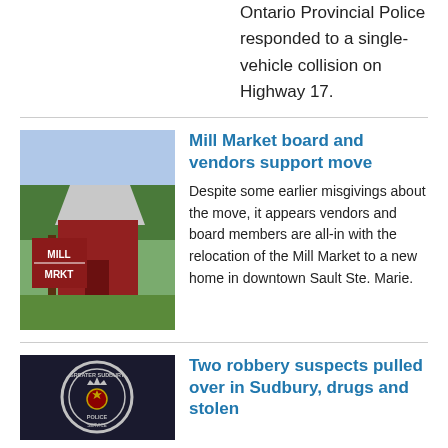Ontario Provincial Police responded to a single-vehicle collision on Highway 17.
[Figure (photo): Mill Market sign and building exterior with green trees in background]
Mill Market board and vendors support move
Despite some earlier misgivings about the move, it appears vendors and board members are all-in with the relocation of the Mill Market to a new home in downtown Sault Ste. Marie.
[Figure (photo): Greater Sudbury Police badge/patch on uniform shoulder]
Two robbery suspects pulled over in Sudbury, drugs and stolen